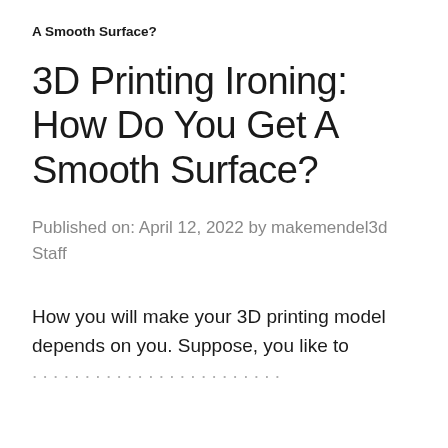A Smooth Surface?
3D Printing Ironing: How Do You Get A Smooth Surface?
Published on: April 12, 2022 by makemendel3d Staff
How you will make your 3D printing model depends on you. Suppose, you like to